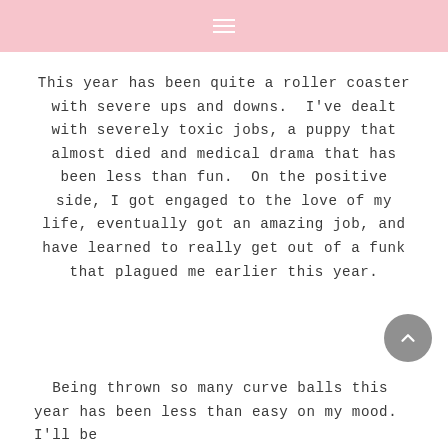This year has been quite a roller coaster with severe ups and downs.  I've dealt with severely toxic jobs, a puppy that almost died and medical drama that has been less than fun.  On the positive side, I got engaged to the love of my life, eventually got an amazing job, and have learned to really get out of a funk that plagued me earlier this year.
Being thrown so many curve balls this year has been less than easy on my mood.  I'll be